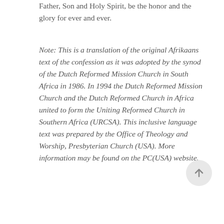Father, Son and Holy Spirit, be the honor and the glory for ever and ever.
Note: This is a translation of the original Afrikaans text of the confession as it was adopted by the synod of the Dutch Reformed Mission Church in South Africa in 1986. In 1994 the Dutch Reformed Mission Church and the Dutch Reformed Church in Africa united to form the Uniting Reformed Church in Southern Africa (URCSA). This inclusive language text was prepared by the Office of Theology and Worship, Presbyterian Church (USA). More information may be found on the PC(USA) website.